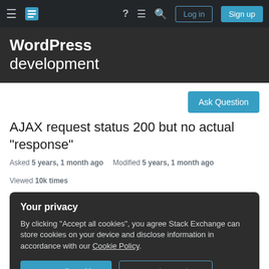WordPress development — Stack Exchange navigation bar with Log in and Sign up buttons
WordPress development
Ask Question
AJAX request status 200 but no actual "response"
Asked 5 years, 1 month ago   Modified 5 years, 1 month ago   Viewed 10k times
Your privacy
By clicking "Accept all cookies", you agree Stack Exchange can store cookies on your device and disclose information in accordance with our Cookie Policy.
Accept all cookies   Customize settings
display it on the page. I know that `echo` should